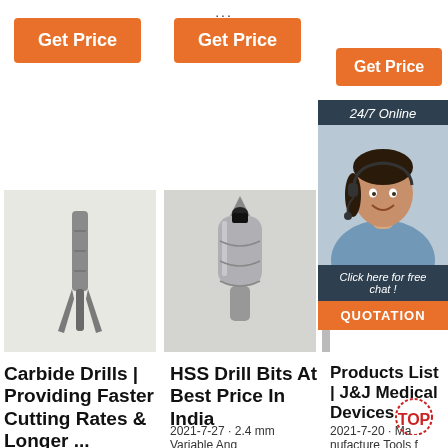...
[Figure (screenshot): Orange 'Get Price' button, first column]
[Figure (screenshot): Orange 'Get Price' button, second column]
[Figure (screenshot): Orange 'Get Price' button, third column with 24/7 Online chat popup overlay showing a customer service agent, 'Click here for free chat!' text, and QUOTATION button]
[Figure (photo): Photo of a carbide drill bit]
[Figure (photo): Photo of an HSS drill bit with cylindrical shank]
Carbide Drills | Providing Faster Cutting Rates & Longer ...
HSS Drill Bits At Best Price In India
2021-7-27 · 2.4 mm Variable Ang
Products List | J&J Medical Devices
2021-7-20 · Manufacture Tools f